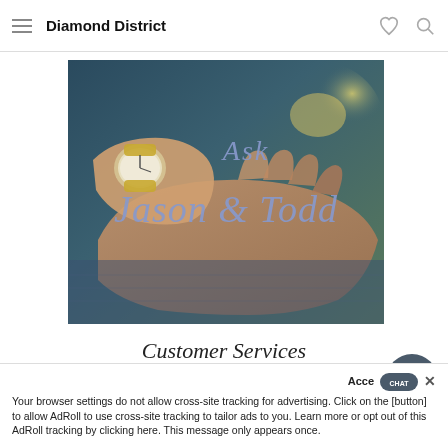Diamond District
[Figure (photo): Photo of two hands resting together on a blue denim background, one wearing a gold watch with a round face. Overlaid text reads 'Ask Jason & Todd' in a decorative blue/periwinkle serif font.]
Customer Services
Acce CHAT ×
Your browser settings do not allow cross-site tracking for advertising. Click on the [button] to allow AdRoll to use cross-site tracking to tailor ads to you. Learn more or opt out of this AdRoll tracking by clicking here. This message only appears once.